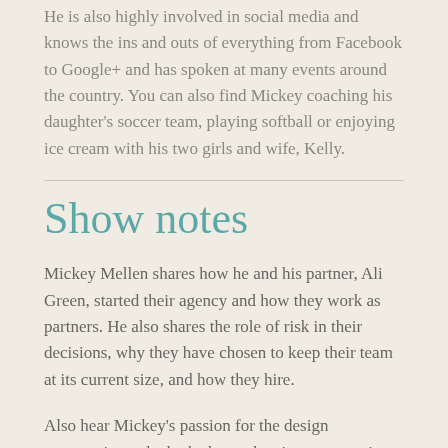He is also highly involved in social media and knows the ins and outs of everything from Facebook to Google+ and has spoken at many events around the country. You can also find Mickey coaching his daughter's soccer team, playing softball or enjoying ice cream with his two girls and wife, Kelly.
Show notes
Mickey Mellen shares how he and his partner, Ali Green, started their agency and how they work as partners. He also shares the role of risk in their decisions, why they have chosen to keep their team at its current size, and how they hire.
Also hear Mickey's passion for the design community and why he began hosting meetups in the Atlanta area to build community with those who are normally competitors.
Show links